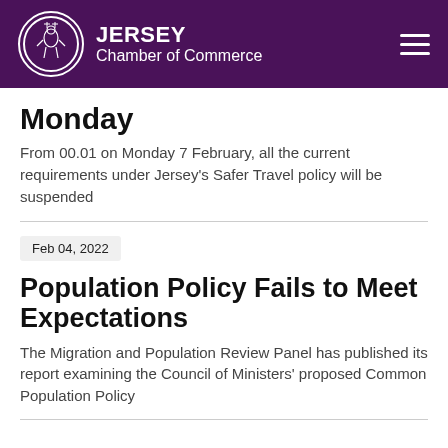JERSEY Chamber of Commerce
Monday
From 00.01 on Monday 7 February, all the current requirements under Jersey's Safer Travel policy will be suspended
Feb 04, 2022
Population Policy Fails to Meet Expectations
The Migration and Population Review Panel has published its report examining the Council of Ministers' proposed Common Population Policy